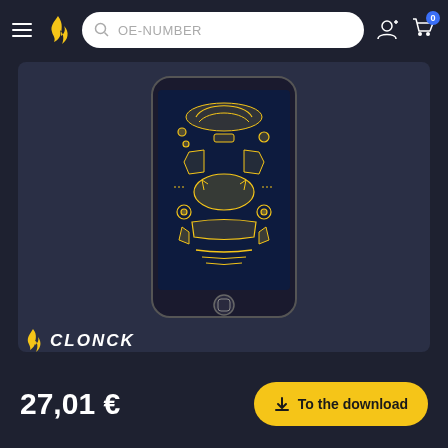OE-NUMBER
[Figure (screenshot): A smartphone displaying an exploded view illustration of a car with yellow line-art parts on a dark navy background. The phone is shown in portrait orientation with a home button at the bottom.]
CLONCK
27,01 €
To the download